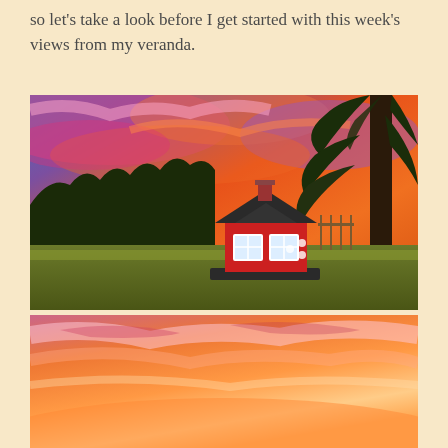so let's take a look before I get started with this week's views from my veranda.
[Figure (photo): A vibrant sunset sky with orange, pink, purple and blue hues. A small decorative red barn/birdhouse with dark roof and white windows sits on a green lawn. Dark tree branches hang from upper right. A fence is visible in the background.]
[Figure (photo): Continuation of the same sunset scene showing the dramatic orange, pink, and purple sky with wispy clouds near the horizon.]